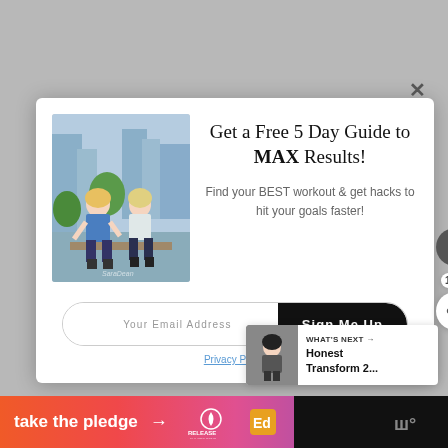[Figure (screenshot): Gray background with a modal popup overlay showing a fitness email signup form. Two women in athletic wear sitting on a bar outdoors. Text: 'Get a Free 5 Day Guide to MAX Results!' with subtitle 'Find your BEST workout & get hacks to hit your goals faster!' Email input field and black 'Sign Me Up' button. Privacy Policy link. Heart and share buttons on side. 'WHAT'S NEXT' thumbnail panel bottom right. Bottom bar has 'take the pledge' with gradient orange-pink background and logos.]
Get a Free 5 Day Guide to MAX Results!
Find your BEST workout & get hacks to hit your goals faster!
Your Email Address
Sign Me Up
Privacy Policy
1.2K
WHAT'S NEXT →
Honest Transform 2...
take the pledge